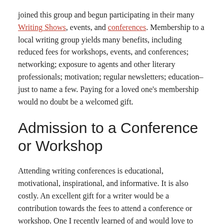joined this group and begun participating in their many Writing Shows, events, and conferences. Membership to a local writing group yields many benefits, including reduced fees for workshops, events, and conferences; networking; exposure to agents and other literary professionals; motivation; regular newsletters; education–just to name a few. Paying for a loved one's membership would no doubt be a welcomed gift.
Admission to a Conference or Workshop
Attending writing conferences is educational, motivational, inspirational, and informative. It is also costly. An excellent gift for a writer would be a contribution towards the fees to attend a conference or workshop. One I recently learned of and would love to